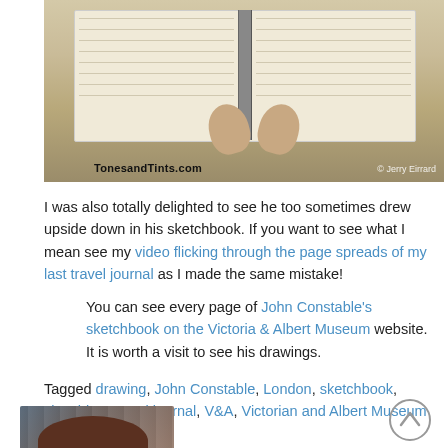[Figure (photo): Hands holding open a sketchbook, with TonesandTints.com watermark bottom left and copyright mark bottom right]
I was also totally delighted to see he too sometimes drew upside down in his sketchbook. If you want to see what I mean see my video flicking through the page spreads of my last travel journal as I made the same mistake!
You can see every page of John Constable's sketchbook on the Victoria & Albert Museum website. It is worth a visit to see his drawings.
Tagged drawing, John Constable, London, sketchbook, sketching, travel journal, V&A, Victorian and Albert Museum
[Figure (photo): Portrait photo of a woman with brown hair and glasses, smiling, with bookshelves in the background]
[Figure (other): Scroll-to-top arrow button in bottom right corner]